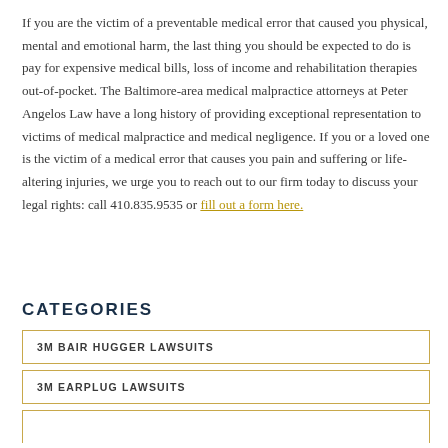If you are the victim of a preventable medical error that caused you physical, mental and emotional harm, the last thing you should be expected to do is pay for expensive medical bills, loss of income and rehabilitation therapies out-of-pocket. The Baltimore-area medical malpractice attorneys at Peter Angelos Law have a long history of providing exceptional representation to victims of medical malpractice and medical negligence. If you or a loved one is the victim of a medical error that causes you pain and suffering or life-altering injuries, we urge you to reach out to our firm today to discuss your legal rights: call 410.835.9535 or fill out a form here.
CATEGORIES
3M BAIR HUGGER LAWSUITS
3M EARPLUG LAWSUITS